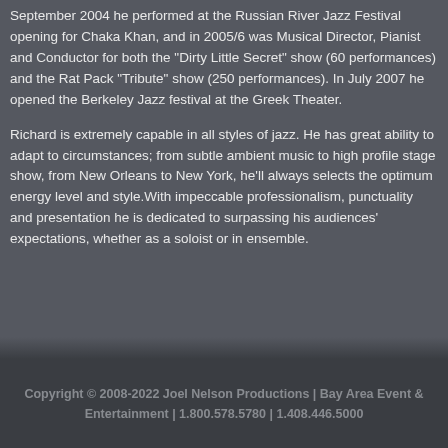September 2004 he performed at the Russian River Jazz Festival opening for Chaka Khan, and in 2005/6 was Musical Director, Pianist and Conductor for both the "Dirty Little Secret" show (60 performances) and the Rat Pack "Tribute" show (250 performances). In July 2007 he opened the Berkeley Jazz festival at the Greek Theater.

Richard is extremely capable in all styles of jazz. He has great ability to adapt to circumstances; from subtle ambient music to high profile stage show, from New Orleans to New York, he'll always selects the optimum energy level and style.With impeccable professionalism, punctuality and presentation he is dedicated to surpassing his audiences' expectations, whether as a soloist or in ensemble.
Copyright © 2008-2022 Joel Nelson Productions | Bay Area Event & Entertainment | 1.800.578.5780 | 1.408.446.5000